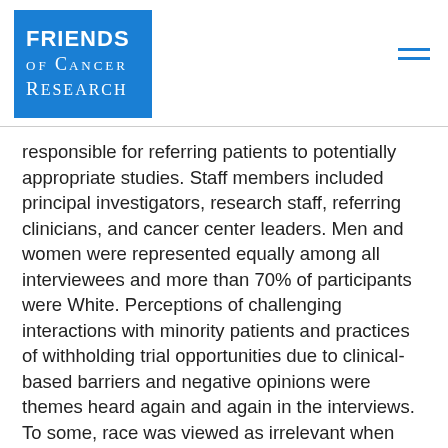[Figure (logo): Friends of Cancer Research logo — blue square background with white text reading FRIENDS of CANCER RESEARCH]
responsible for referring patients to potentially appropriate studies. Staff members included principal investigators, research staff, referring clinicians, and cancer center leaders. Men and women were represented equally among all interviewees and more than 70% of participants were White. Perceptions of challenging interactions with minority patients and practices of withholding trial opportunities due to clinical-based barriers and negative opinions were themes heard again and again in the interviews. To some, race was viewed as irrelevant when screening for potential minority participants.